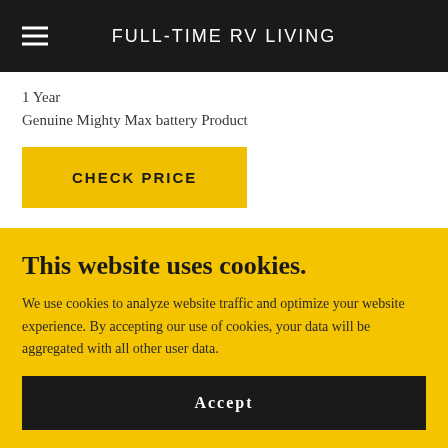FULL-TIME RV LIVING
1 Year
Genuine Mighty Max battery Product
CHECK PRICE
This website uses cookies.
We use cookies to analyze website traffic and optimize your website experience. By accepting our use of cookies, your data will be aggregated with all other user data.
Accept